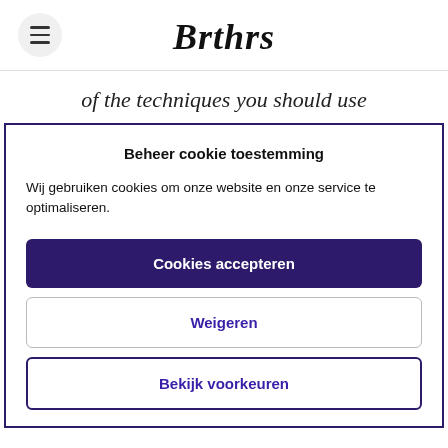Brthrs
of the techniques you should use
Beheer cookie toestemming
Wij gebruiken cookies om onze website en onze service te optimaliseren.
Cookies accepteren
Weigeren
Bekijk voorkeuren